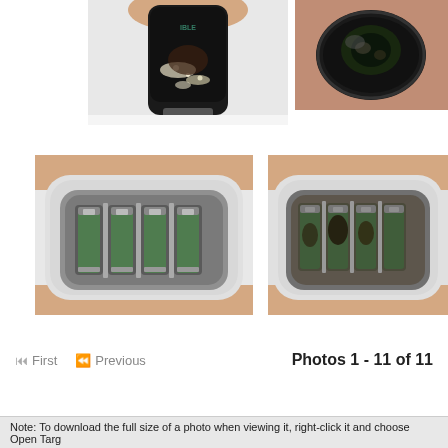[Figure (photo): Close-up of a corroded/burned AA battery being held, showing black charring and white residue on its surface]
[Figure (photo): Close-up of the top/bottom of a corroded battery being held, showing dark corrosion and residue]
[Figure (photo): Interior of a battery charger (clean state) showing metal battery contacts and green circuit board, held in hands]
[Figure (photo): Interior of a battery charger (damaged/corroded state) showing burned/corroded metal contacts and green circuit board, held in hands]
⏮ First   ⏪ Previous   Photos 1 - 11 of 11
Note: To download the full size of a photo when viewing it, right-click it and choose Open Targ